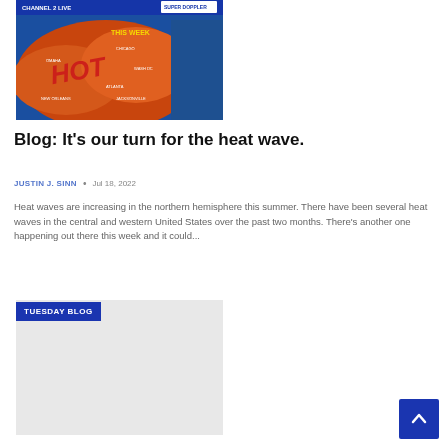[Figure (screenshot): Weather map screenshot showing a heat wave over the central and eastern United States with 'THIS WEEK' label in yellow and 'HOT' text in red. The map has a blue top bar with news channel branding and 'SUPER DOPPLER' badge.]
Blog: It's our turn for the heat wave.
JUSTIN J. SINN • Jul 18, 2022
Heat waves are increasing in the northern hemisphere this summer. There have been several heat waves in the central and western United States over the past two months. There's another one happening out there this week and it could...
[Figure (screenshot): Second blog thumbnail image with 'TUESDAY BLOG' blue label badge at top left on a light gray background.]